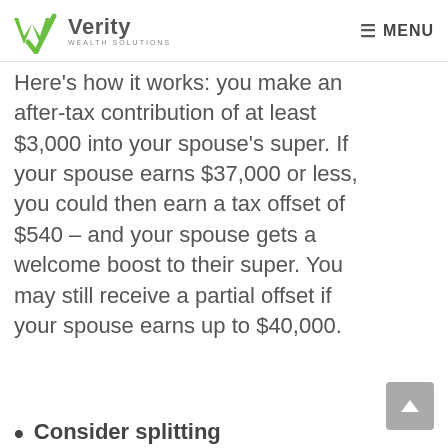Verity Wealth Solutions — MENU
Here's how it works: you make an after-tax contribution of at least $3,000 into your spouse's super. If your spouse earns $37,000 or less, you could then earn a tax offset of $540 – and your spouse gets a welcome boost to their super. You may still receive a partial offset if your spouse earns up to $40,000.
Consider splitting